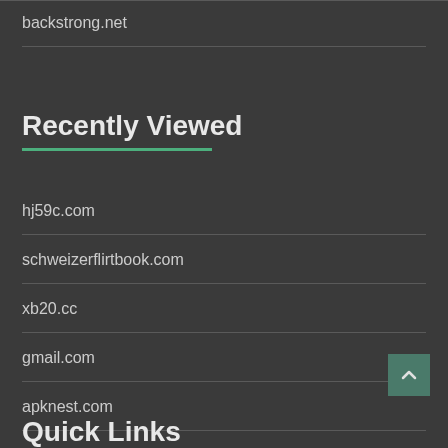backstrong.net
Recently Viewed
hj59c.com
schweizerflirtbook.com
xb20.cc
gmail.com
apknest.com
Quick Links